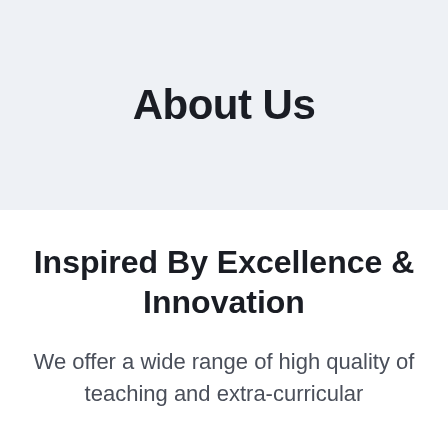About Us
Inspired By Excellence & Innovation
We offer a wide range of high quality of teaching and extra-curricular